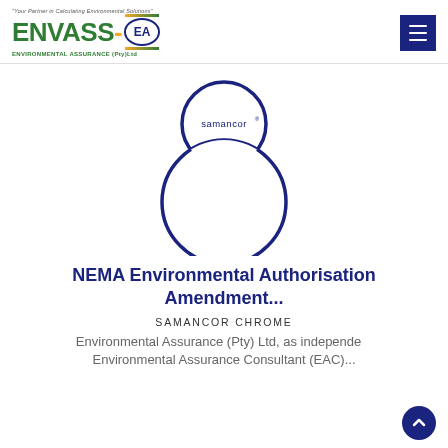ENVASS-EA Environmental Assurance (Pty)Ltd — Your Partner in Calculating Environmental Solutions
[Figure (illustration): Two overlapping circles forming a figure-8 shape outlined in dark navy blue. The smaller top circle contains the text 'samancor' with a registered trademark symbol. The larger bottom circle is empty.]
NEMA Environmental Authorisation Amendment...
SAMANCOR CHROME
Environmental Assurance (Pty) Ltd, as independent Environmental Assurance Consultant (EAC)...